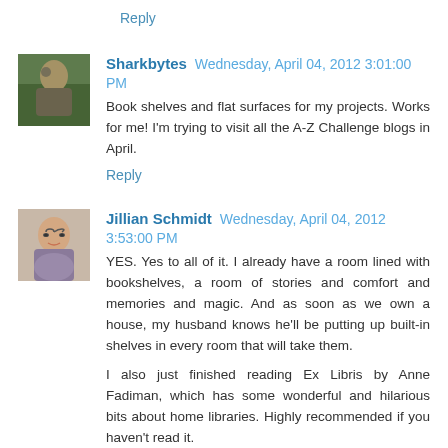Reply
[Figure (photo): Avatar photo of Sharkbytes commenter, appears to be an outdoor nature photo]
Sharkbytes  Wednesday, April 04, 2012 3:01:00 PM
Book shelves and flat surfaces for my projects. Works for me! I'm trying to visit all the A-Z Challenge blogs in April.
Reply
[Figure (photo): Avatar photo of Jillian Schmidt commenter, appears to be a woman with glasses]
Jillian Schmidt  Wednesday, April 04, 2012 3:53:00 PM
YES. Yes to all of it. I already have a room lined with bookshelves, a room of stories and comfort and memories and magic. And as soon as we own a house, my husband knows he'll be putting up built-in shelves in every room that will take them.
I also just finished reading Ex Libris by Anne Fadiman, which has some wonderful and hilarious bits about home libraries. Highly recommended if you haven't read it.
Reply